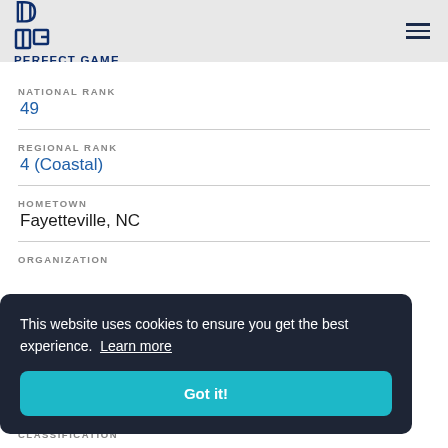PERFECT GAME
NATIONAL RANK
49
REGIONAL RANK
4 (Coastal)
HOMETOWN
Fayetteville, NC
ORGANIZATION
This website uses cookies to ensure you get the best experience. Learn more
Got it!
CLASSIFICATION